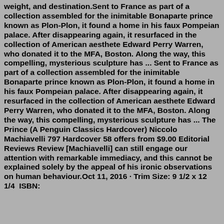weight, and destination.Sent to France as part of a collection assembled for the inimitable Bonaparte prince known as Plon-Plon, it found a home in his faux Pompeian palace. After disappearing again, it resurfaced in the collection of American aesthete Edward Perry Warren, who donated it to the MFA, Boston. Along the way, this compelling, mysterious sculpture has ... Sent to France as part of a collection assembled for the inimitable Bonaparte prince known as Plon-Plon, it found a home in his faux Pompeian palace. After disappearing again, it resurfaced in the collection of American aesthete Edward Perry Warren, who donated it to the MFA, Boston. Along the way, this compelling, mysterious sculpture has ... The Prince (A Penguin Classics Hardcover) Niccolo Machiavelli 797 Hardcover 58 offers from $9.00 Editorial Reviews Review [Machiavelli] can still engage our attention with remarkable immediacy, and this cannot be explained solely by the appeal of his ironic observations on human behaviour.Oct 11, 2016 · Trim Size: 9 1/2 x 12 1/4  ISBN: